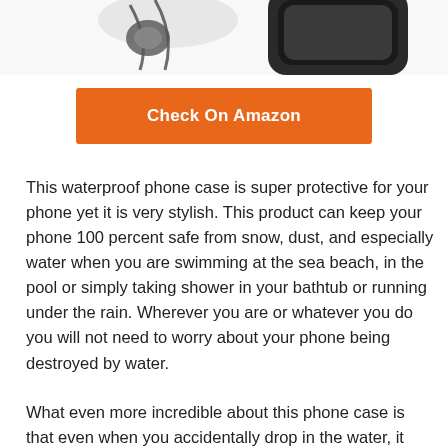[Figure (photo): Product photos of waterproof phone cases — a clip-on earphone/accessory on the left and a black rectangular phone case on the right, partially cropped at the top of the page.]
Check On Amazon
This waterproof phone case is super protective for your phone yet it is very stylish. This product can keep your phone 100 percent safe from snow, dust, and especially water when you are swimming at the sea beach, in the pool or simply taking shower in your bathtub or running under the rain. Wherever you are or whatever you do you will not need to worry about your phone being destroyed by water.
What even more incredible about this phone case is that even when you accidentally drop in the water, it